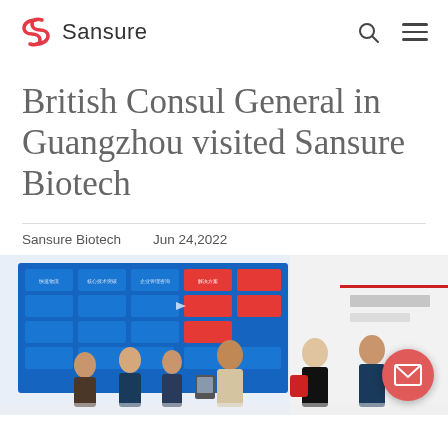Sansure
British Consul General in Guangzhou visited Sansure Biotech
Sansure Biotech    Jun 24,2022
[Figure (photo): Group of people standing in front of a Sansure Biotech exhibition booth display with blue and red panels showing various product categories in Chinese text.]